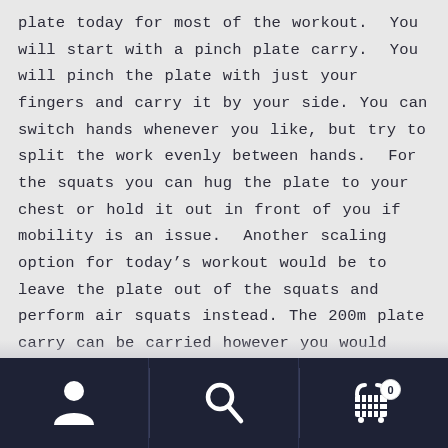plate today for most of the workout. You will start with a pinch plate carry. You will pinch the plate with just your fingers and carry it by your side. You can switch hands whenever you like, but try to split the work evenly between hands. For the squats you can hug the plate to your chest or hold it out in front of you if mobility is an issue. Another scaling option for today's workout would be to leave the plate out of the squats and perform air squats instead. The 200m plate carry can be carried however you would like. After another set
[Figure (other): Mobile app bottom navigation bar with dark navy background containing three icons: a user/person icon on the left, a search/magnifying glass icon in the center, and a shopping cart icon with a badge showing '0' on the right. Vertical dividers separate the three sections.]